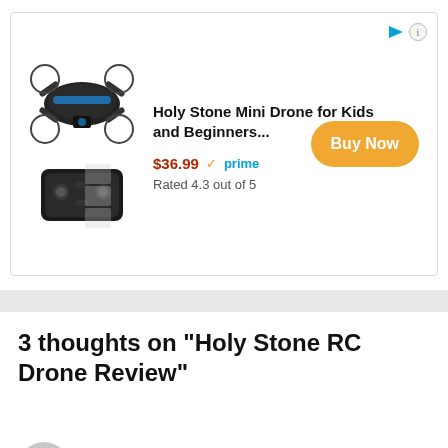[Figure (screenshot): Amazon advertisement for Holy Stone Mini Drone showing product image, price $36.99, Prime badge, rating 4.3 out of 5, and Buy Now button]
3 thoughts on “Holy Stone RC Drone Review”
LOIS
August 31, 2016 at 6:19 pm
Checking possibility of this drone